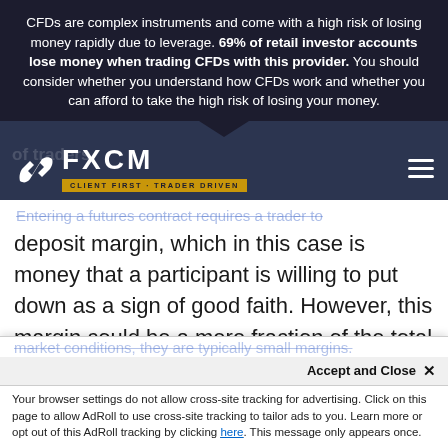CFDs are complex instruments and come with a high risk of losing money rapidly due to leverage. 69% of retail investor accounts lose money when trading CFDs with this provider. You should consider whether you understand how CFDs work and whether you can afford to take the high risk of losing your money.
[Figure (logo): FXCM logo with lightning bolt icon and tagline CLIENT FIRST · TRADER DRIVEN on a dark navy background, with hamburger menu icon on the right]
Entering a futures contract requires a trader to deposit margin, which in this case is money that a participant is willing to put down as a sign of good faith. However, this margin could be a mere fraction of the total value of the contract that a trader enters. Although futures margins vary according to exchange, product, broker and market conditions, they are typically small margins.
Accept and Close ✕
Your browser settings do not allow cross-site tracking for advertising. Click on this page to allow AdRoll to use cross-site tracking to tailor ads to you. Learn more or opt out of this AdRoll tracking by clicking here. This message only appears once.